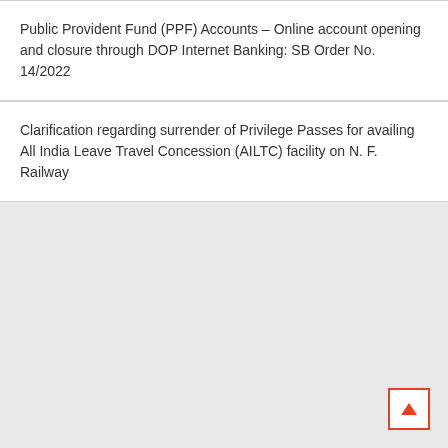Public Provident Fund (PPF) Accounts – Online account opening and closure through DOP Internet Banking: SB Order No. 14/2022
Clarification regarding surrender of Privilege Passes for availing All India Leave Travel Concession (AILTC) facility on N. F. Railway